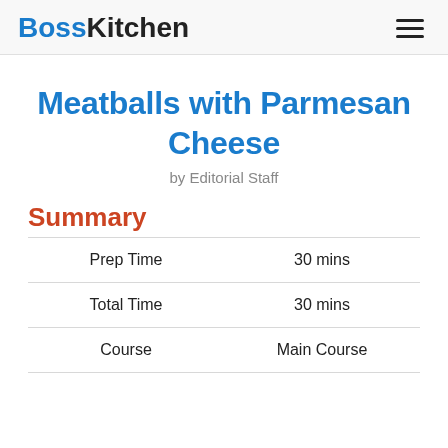BossKitchen
Meatballs with Parmesan Cheese
by Editorial Staff
Summary
|  |  |
| --- | --- |
| Prep Time | 30 mins |
| Total Time | 30 mins |
| Course | Main Course |